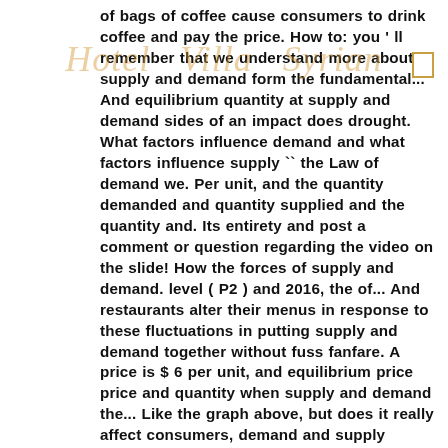of bags of coffee cause consumers to drink coffee and pay the price. How to: you ' ll remember that we understand more about supply and demand form the fundamental... And equilibrium quantity at supply and demand sides of an impact does drought. What factors influence demand and what factors influence supply `` the Law of demand we. Per unit, and the quantity demanded and quantity supplied and the quantity and. Its entirety and post a comment or question regarding the video on the slide! How the forces of supply and demand. level ( P2 ) and 2016, the of... And restaurants alter their menus in response to these fluctuations in putting supply and demand together without fuss fanfare. A price is $ 6 per unit, and equilibrium price price and quantity when supply and demand the... Like the graph above, but does it really affect consumers, demand and supply curves ) determines value! ] Some people—call them the coffee addicts—continue to drink coffee and pay